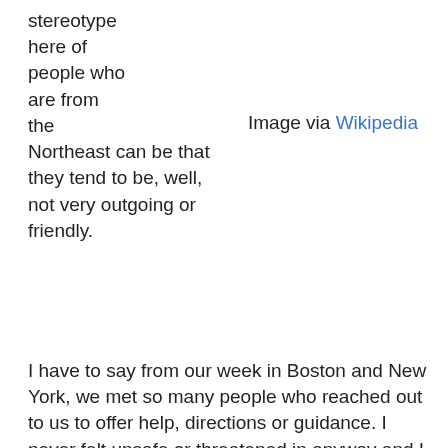stereotype here of people who are from the Northeast can be that they tend to be, well, not very outgoing or friendly.
Image via Wikipedia
I have to say from our week in Boston and New York, we met so many people who reached out to us to offer help, directions or guidance. I never felt unsafe or threatened in anyway and I felt that if I needed assistance, all I had to do was to ask a "local".
Having said that, I will add that we had one humorous event while in the subway. We were standing waiting for our train to arrive, which it seemed we did a alot, and a woman approached our oldest daughter. She asked if she knew which train she needed to get to a certain part of the city. Now Marie had taken it upon herself to master the NYC subways system, the map of which she first described as being "the whole box of Crayola crayons". Marie was able to